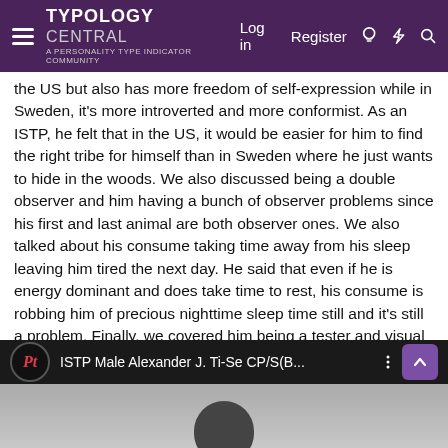Typology Central — A Personality Type Indicator Community | Log in | Register
the US but also has more freedom of self-expression while in Sweden, it's more introverted and more conformist. As an ISTP, he felt that in the US, it would be easier for him to find the right tribe for himself than in Sweden where he just wants to hide in the woods. We also discussed being a double observer and him having a bunch of observer problems since his first and last animal are both observer ones. We also talked about his consume taking time away from his sleep leaving him tired the next day. He said that even if he is energy dominant and does take time to rest, his consume is robbing him of precious nighttime sleep time still and it's still a problem. Finally, we covered him being a tester and visual and him loving smelling different candles and trying different food and finding it weird if he doesn't like food that the tribe enjoys. Watch this interview here:
[Figure (screenshot): Video thumbnail showing 'ISTP Male Alexander J. Ti-Se CP/S(B...' with Personality Types logo and person's head visible below]